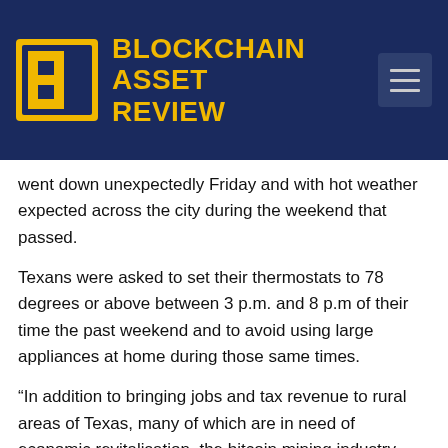BLOCKCHAIN ASSET REVIEW
went down unexpectedly Friday and with hot weather expected across the city during the weekend that passed.
Texans were asked to set their thermostats to 78 degrees or above between 3 p.m. and 8 p.m of their time the past weekend and to avoid using large appliances at home during those same times.
“In addition to bringing jobs and tax revenue to rural areas of Texas, many of which are in need of economic revitalisation, the bitcoin mining industry also provides greater grid resilience by acting as a controllable load,” said Lee Bratcher, the President of the Texas Blockchain Council.
“Bitcoin miners can turn off within just a few seconds